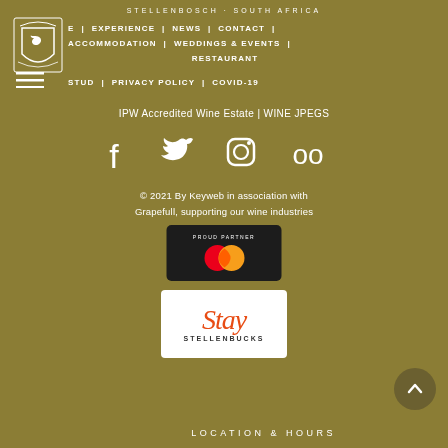STELLENBOSCH · SOUTH AFRICA
[Figure (logo): Heraldic crest logo with lion on shield, decorative border]
E  |  EXPERIENCE  |  NEWS  |  CONTACT  |  ACCOMMODATION  |  WEDDINGS & EVENTS  |  RESTAURANT
STUD  |  PRIVACY POLICY  |  COVID-19
IPW Accredited Wine Estate | WINE JPEGS
[Figure (infographic): Social media icons: Facebook, Twitter, Instagram, TripAdvisor]
© 2021 By Keyweb in association with Grapefull, supporting our wine industries
[Figure (logo): Mastercard Proud Partner badge on black background]
[Figure (logo): Stay Stellenbucks logo on white background]
LOCATION & HOURS